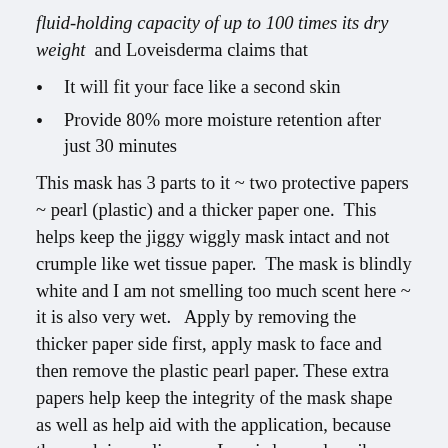fluid-holding capacity of up to 100 times its dry weight and Loveisderma claims that
It will fit your face like a second skin
Provide 80% more moisture retention after just 30 minutes
This mask has 3 parts to it ~ two protective papers ~ pearl (plastic) and a thicker paper one.  This helps keep the jiggy wiggly mask intact and not crumple like wet tissue paper.  The mask is blindly white and I am not smelling too much scent here ~ it is also very wet.   Apply by removing the thicker paper side first, apply mask to face and then remove the plastic pearl paper. These extra papers help keep the integrity of the mask shape as well as help aid with the application, because the mask is so slippery.  Loveisderma describes the mask material as such